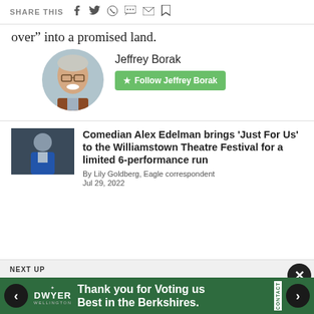SHARE THIS
over” into a promised land.
[Figure (photo): Circular headshot photo of Jeffrey Borak, an older man with glasses and a white mustache, wearing a brown jacket]
Jeffrey Borak
★ Follow Jeffrey Borak
Comedian Alex Edelman brings 'Just For Us' to the Williamstown Theatre Festival for a limited 6-performance run
[Figure (photo): Small thumbnail photo of a man in a blue jacket]
By Lily Goldberg, Eagle correspondent
Jul 29, 2022
NEXT UP
Thank you for Voting us Best in the Berkshires.